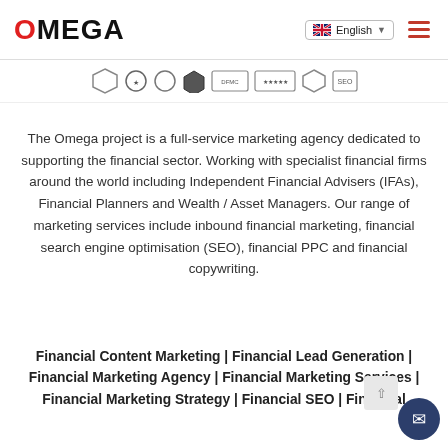OMEGA | English
[Figure (logo): Row of certification/award badge icons]
The Omega project is a full-service marketing agency dedicated to supporting the financial sector. Working with specialist financial firms around the world including Independent Financial Advisers (IFAs), Financial Planners and Wealth / Asset Managers. Our range of marketing services include inbound financial marketing, financial search engine optimisation (SEO), financial PPC and financial copywriting.
Financial Content Marketing | Financial Lead Generation | Financial Marketing Agency | Financial Marketing Services | Financial Marketing Strategy | Financial SEO | Financial